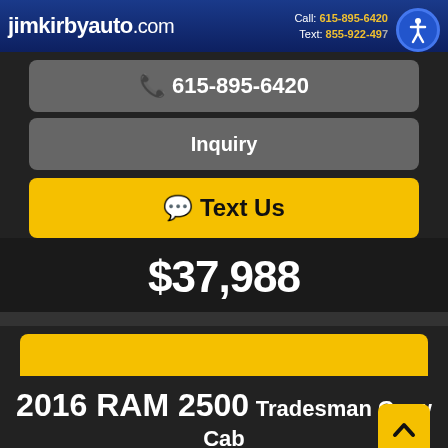jimkirbyauto.com | Call: 615-895-6420 | Text: 855-922-4971
📞 615-895-6420
Inquiry
💬 Text Us
$37,988
2016 RAM 2500 Tradesman Crew Cab SWB 4WD
[Figure (screenshot): Yellow vehicle listing card placeholder image]
💬 Text Us